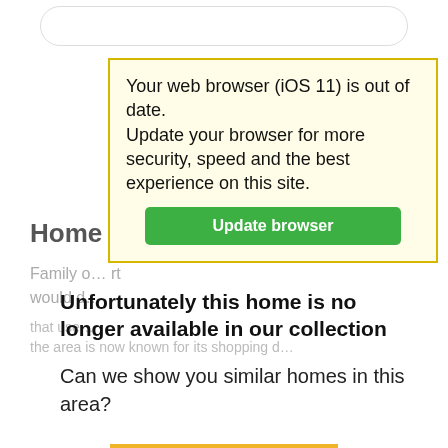[Figure (screenshot): Top navigation bar with rounded rectangle shape]
Your web browser (iOS 11) is out of date.
Update your browser for more security, speed and the best experience on this site.
Update browser
Home C...
Family o... rt would d... that use... the area is now known for its shopping d...
Unfortunately this home is no longer available in our collection
Can we show you similar homes in this area?
VIEW SIMILAR HOMES